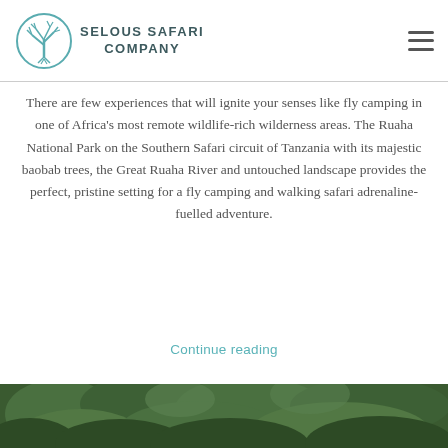[Figure (logo): Selous Safari Company logo: circular teal tree/branches emblem with company name text]
There are few experiences that will ignite your senses like fly camping in one of Africa's most remote wildlife-rich wilderness areas. The Ruaha National Park on the Southern Safari circuit of Tanzania with its majestic baobab trees, the Great Ruaha River and untouched landscape provides the perfect, pristine setting for a fly camping and walking safari adrenaline-fuelled adventure.
Continue reading
[Figure (photo): Bottom strip showing green lush foliage/vegetation, partial view of a photo]